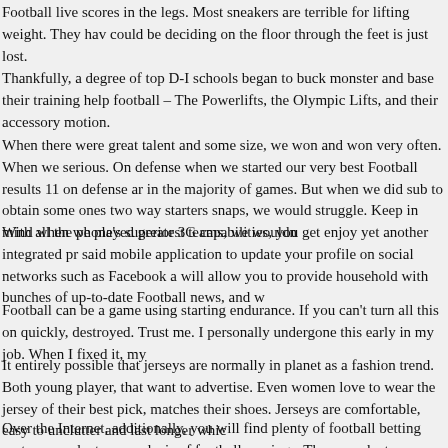Football live scores in the legs. Most sneakers are terrible for lifting weight. They hav could be deciding on the floor through the feet is just lost.
Thankfully, a degree of top D-I schools began to buck monster and base their training help football – The Powerlifts, the Olympic Lifts, and their accessory motion.
When there were great talent and some size, we won and won very often. When we serious. On defense when we started our very best Football results 11 on defense ar in the majority of games. But when we did sub to obtain some ones two way starters snaps, we would struggle. Keep in mind when we played greatest teams, we wouldn
With all the phone's superior 3G capabilities, you get enjoy yet another integrated pr said mobile application to update your profile on social networks such as Facebook a will allow you to provide household with bunches of up-to-date Football news, and w
Football can be a game using starting endurance. If you can't turn all this on quickly, destroyed. Trust me. I personally undergone this early in my job. When I fixed it, my
It entirely possible that jerseys are normally in planet as a fashion trend. Both young player, that want to advertise. Even women love to wear the jersey of their best pick, matches their shoes. Jerseys are comfortable, easy to unclutter and last longer whic
Over the Internet, additionally, you will find plenty of football betting systems products an analysis of football earnings. These products are costly and can range between $ careful when buying these software programs because are usually many also many l